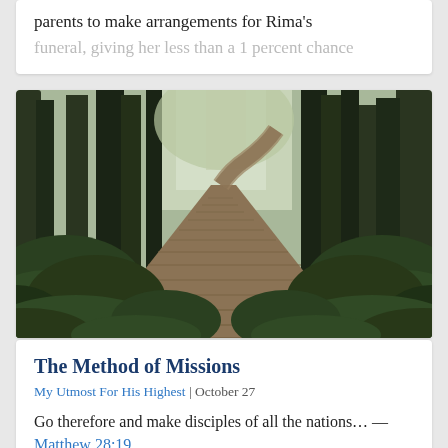parents to make arrangements for Rima’s funeral, giving her less than a 1 percent chance
[Figure (photo): A wooden boardwalk path winding through a dense green forest with tall dark trees and lush undergrowth]
The Method of Missions
My Utmost For His Highest | October 27
Go therefore and make disciples of all the nations… —Matthew 28:19